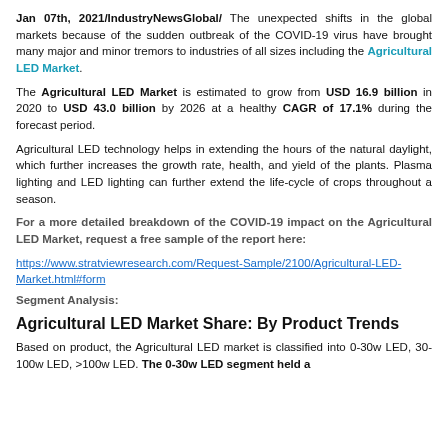Jan 07th, 2021/IndustryNewsGlobal/ The unexpected shifts in the global markets because of the sudden outbreak of the COVID-19 virus have brought many major and minor tremors to industries of all sizes including the Agricultural LED Market.
The Agricultural LED Market is estimated to grow from USD 16.9 billion in 2020 to USD 43.0 billion by 2026 at a healthy CAGR of 17.1% during the forecast period.
Agricultural LED technology helps in extending the hours of the natural daylight, which further increases the growth rate, health, and yield of the plants. Plasma lighting and LED lighting can further extend the life-cycle of crops throughout a season.
For a more detailed breakdown of the COVID-19 impact on the Agricultural LED Market, request a free sample of the report here:
https://www.stratviewresearch.com/Request-Sample/2100/Agricultural-LED-Market.html#form
Segment Analysis:
Agricultural LED Market Share: By Product Trends
Based on product, the Agricultural LED market is classified into 0-30w LED, 30-100w LED, >100w LED. The 0-30w LED segment held a